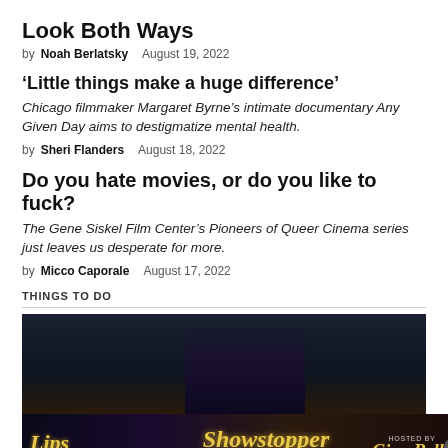Look Both Ways
by Noah Berlatsky   August 19, 2022
‘Little things make a huge difference’
Chicago filmmaker Margaret Byrne’s intimate documentary Any Given Day aims to destigmatize mental health.
by Sheri Flanders   August 18, 2022
Do you hate movies, or do you like to fuck?
The Gene Siskel Film Center’s Pioneers of Queer Cinema series just leaves us desperate for more.
by Micco Caporale   August 17, 2022
THINGS TO DO
[Figure (photo): Dark image, possibly a person silhouette against dark background]
[Figure (photo): Advertisement banner for Lips: The Tribute to Drag Dining, Showstopper Sunday, hosted by Gina Belle - The Night of Mega-Hits]